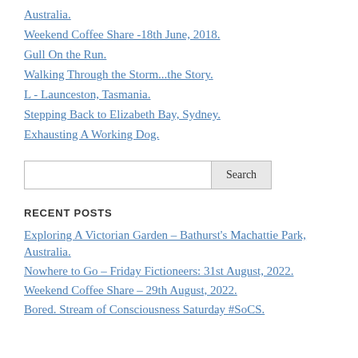Australia.
Weekend Coffee Share -18th June, 2018.
Gull On the Run.
Walking Through the Storm...the Story.
L - Launceston, Tasmania.
Stepping Back to Elizabeth Bay, Sydney.
Exhausting A Working Dog.
Search
RECENT POSTS
Exploring A Victorian Garden – Bathurst's Machattie Park, Australia.
Nowhere to Go – Friday Fictioneers: 31st August, 2022.
Weekend Coffee Share – 29th August, 2022.
Bored. Stream of Consciousness Saturday #SoCS.